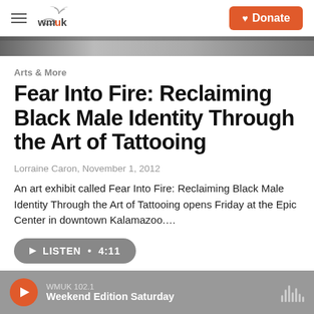wmuk | Donate
[Figure (photo): Grayscale photo strip at top of article]
Arts & More
Fear Into Fire: Reclaiming Black Male Identity Through the Art of Tattooing
Lorraine Caron, November 1, 2012
An art exhibit called Fear Into Fire: Reclaiming Black Male Identity Through the Art of Tattooing opens Friday at the Epic Center in downtown Kalamazoo....
LISTEN • 4:11
WMUK 102.1 Weekend Edition Saturday